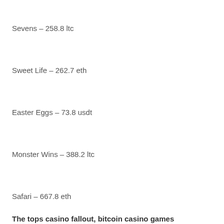Sevens – 258.8 ltc
Sweet Life – 262.7 eth
Easter Eggs – 73.8 usdt
Monster Wins – 388.2 ltc
Safari – 667.8 eth
The tops casino fallout, bitcoin casino games